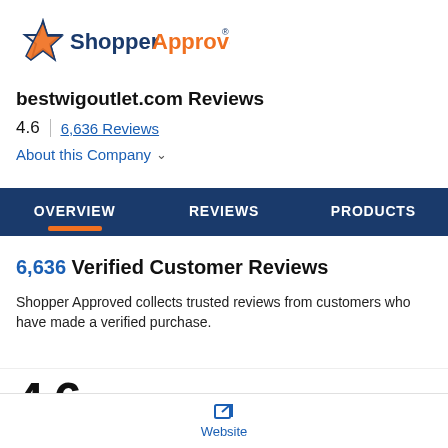[Figure (logo): ShopperApproved logo with star icon and brand name]
bestwigoutlet.com Reviews
4.6  |  6,636 Reviews
About this Company
OVERVIEW   REVIEWS   PRODUCTS
6,636 Verified Customer Reviews
Shopper Approved collects trusted reviews from customers who have made a verified purchase.
4.6   5 ★  5078
Website